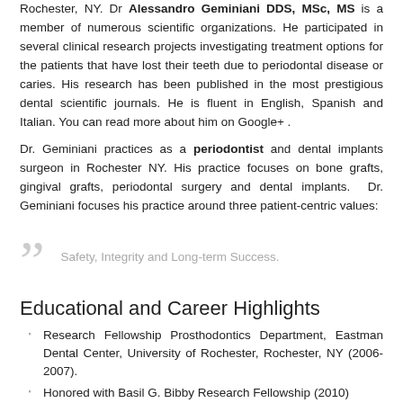Rochester, NY. Dr Alessandro Geminiani DDS, MSc, MS is a member of numerous scientific organizations. He participated in several clinical research projects investigating treatment options for the patients that have lost their teeth due to periodontal disease or caries. His research has been published in the most prestigious dental scientific journals. He is fluent in English, Spanish and Italian. You can read more about him on Google+ .
Dr. Geminiani practices as a periodontist and dental implants surgeon in Rochester NY. His practice focuses on bone grafts, gingival grafts, periodontal surgery and dental implants. Dr. Geminiani focuses his practice around three patient-centric values:
Safety, Integrity and Long-term Success.
Educational and Career Highlights
Research Fellowship Prosthodontics Department, Eastman Dental Center, University of Rochester, Rochester, NY (2006-2007).
Honored with Basil G. Bibby Research Fellowship (2010)